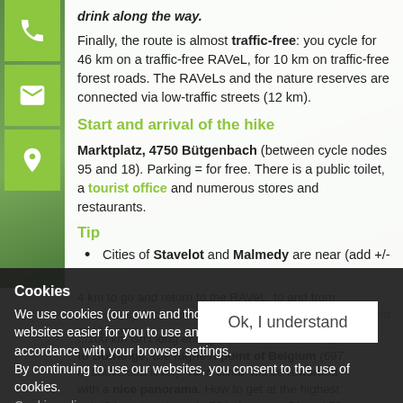drink along the way.
Finally, the route is almost traffic-free: you cycle for 46 km on a traffic-free RAVeL, for 10 km on traffic-free forest roads. The RAVeLs and the nature reserves are connected via low-traffic streets (12 km).
Start and arrival of the hike
Marktplatz, 4750 Bütgenbach (between cycle nodes 95 and 18). Parking = for free. There is a public toilet, a tourist office and numerous stores and restaurants.
Tip
Cities of Stavelot and Malmedy are near (add +/- 4 km to go and return to the RAVeL, to and from both cities). Nice cities to visit, not to be missed!
4 km to go and return to the RAVeL. to and from both cities). Nice cities to visi... ...ursion? Take it easy and don't hurry!
...100 km isn't long enough: plan a detour of 2,- km to Botrange, the highest point of Belgium (697 m above sea level). Your 'climb' will be rewarded with a nice panorama. How to get at the highest point? Insert cycle node 52 in between 51 and 50.
... after 51, ...after 52 and then...
Cookies
We use cookies (our own and those of third parties) to make our websites easier for you to use and to display advertisements in accordance with your browser settings.
By continuing to use our websites, you consent to the use of cookies.
Cookie policy.
Ok, I understand